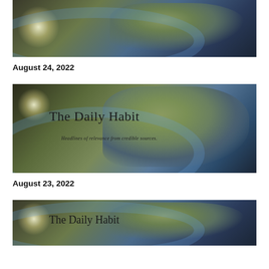[Figure (photo): Earth from space image cropped at top, showing North America and sunflare, partial view]
August 24, 2022
[Figure (photo): The Daily Habit newsletter cover image showing Earth from space with title text overlay: 'The Daily Habit' and subtitle 'Headlines of relevance from credible sources.']
August 23, 2022
[Figure (photo): The Daily Habit newsletter cover image, partially cropped showing Earth from space with title text overlay: 'The Daily Habit']